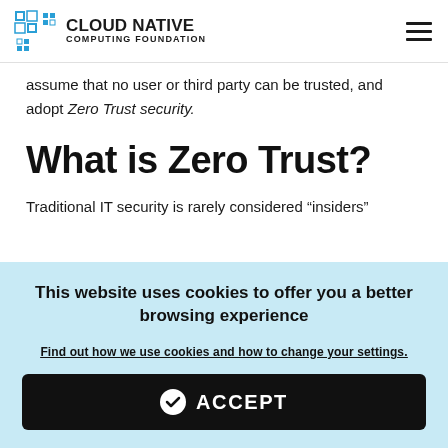CLOUD NATIVE COMPUTING FOUNDATION
assume that no user or third party can be trusted, and adopt Zero Trust security.
What is Zero Trust?
Traditional IT security is rarely considered “insiders”
This website uses cookies to offer you a better browsing experience
Find out how we use cookies and how to change your settings.
ACCEPT